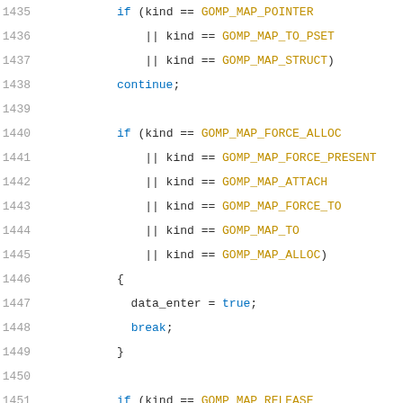[Figure (screenshot): Source code snippet showing C/C++ code lines 1435-1456 with syntax highlighting. Line numbers in gray on left, keywords in blue, constants in gold/yellow.]